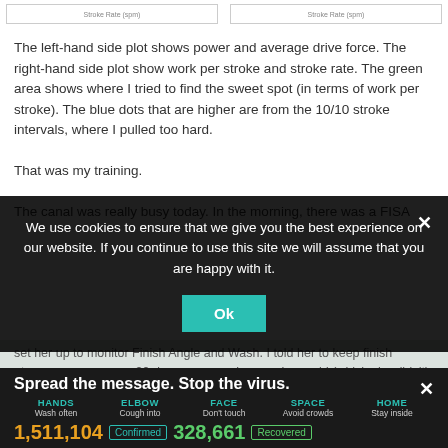[Figure (screenshot): Top strip showing two chart thumbnails with 'Stroke Rate (spm)' labels]
The left-hand side plot shows power and average drive force. The right-hand side plot show work per stroke and stroke rate. The green area shows where I tried to find the sweet spot (in terms of work per stroke). The blue dots that are higher are from the 10/10 stroke intervals, where I pulled too hard.
That was my training.
The canal was really busy today. In the morning, there was a FISA
We use cookies to ensure that we give you the best experience on our website. If you continue to use this site we will assume that you are happy with it.
set her up to monitor Finish Angle and Wash. I told her to keep finish at 20 degrees, or as low as she could (which she didn't). This shows how I have to learn a way to link the athletes to the training tool. I forgot to tell her what the number is, and how she could work on reducing it. It was clear in my head but that means was not really actionable for her.
Spread the message. Stop the virus.
HANDS Wash often   ELBOW Cough into   FACE Don't touch   SPACE Avoid crowds   HOME Stay inside
1,511,104 Confirmed   328,661 Recovered